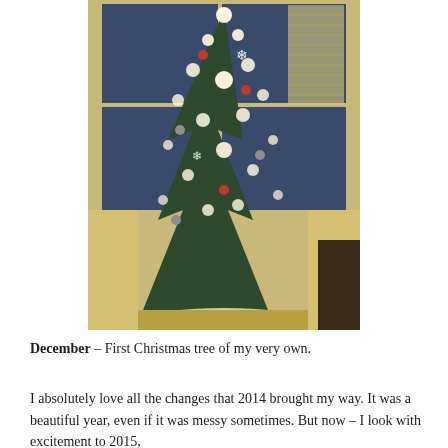[Figure (photo): A decorated Christmas tree with warm white lights, ornaments, and a white/cream tree skirt, placed in front of bay windows showing a dark evening sky outside. The tree appears slightly sparse or leaning.]
December – First Christmas tree of my very own.
I absolutely love all the changes that 2014 brought my way. It was a beautiful year, even if it was messy sometimes. But now – I look with excitement to 2015,